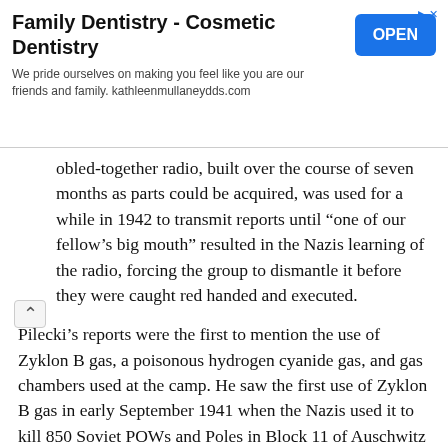[Figure (other): Advertisement banner for Family Dentistry - Cosmetic Dentistry with an OPEN button]
obled-together radio, built over the course of seven months as parts could be acquired, was used for a while in 1942 to transmit reports until “one of our fellow’s big mouth” resulted in the Nazis learning of the radio, forcing the group to dismantle it before they were caught red handed and executed.
Pilecki’s reports were the first to mention the use of Zyklon B gas, a poisonous hydrogen cyanide gas, and gas chambers used at the camp. He saw the first use of Zyklon B gas in early September 1941 when the Nazis used it to kill 850 Soviet POWs and Poles in Block 11 of Auschwitz I. He also learned of the gas chambers at Auschwitz II, or Auschwitz-Birkenau, from other resistance members after construction of the camp